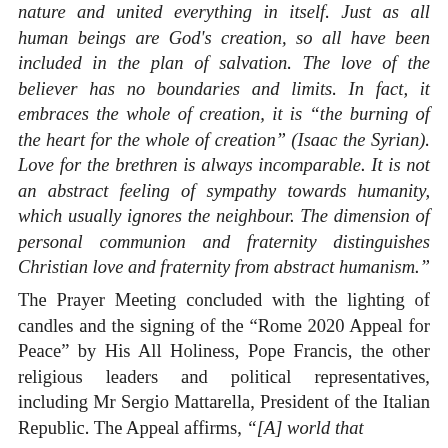nature and united everything in itself. Just as all human beings are God's creation, so all have been included in the plan of salvation. The love of the believer has no boundaries and limits. In fact, it embraces the whole of creation, it is “the burning of the heart for the whole of creation” (Isaac the Syrian). Love for the brethren is always incomparable. It is not an abstract feeling of sympathy towards humanity, which usually ignores the neighbour. The dimension of personal communion and fraternity distinguishes Christian love and fraternity from abstract humanism.”
The Prayer Meeting concluded with the lighting of candles and the signing of the “Rome 2020 Appeal for Peace” by His All Holiness, Pope Francis, the other religious leaders and political representatives, including Mr Sergio Mattarella, President of the Italian Republic. The Appeal affirms, “[A] world that